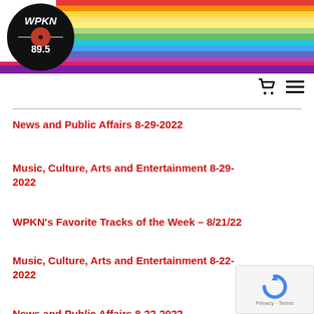[Figure (logo): WPKN 89.5 radio station logo — black circle with white stylized letters WPKN and 89.5, with rainbow colored horizontal stripes to the right]
WPKN 89.5
News and Public Affairs 8-29-2022
Music, Culture, Arts and Entertainment 8-29-2022
WPKN's Favorite Tracks of the Week – 8/21/22
Music, Culture, Arts and Entertainment 8-22-2022
News and Public Affairs 8-22-2022